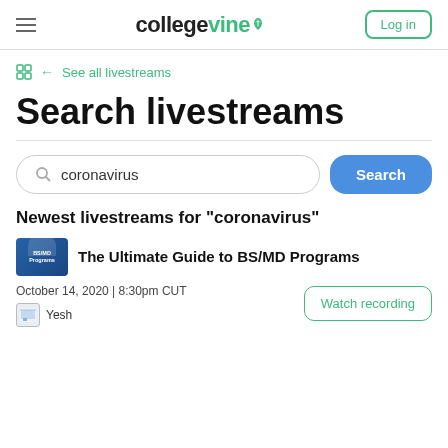collegevine | Log in
← See all livestreams
Search livestreams
coronavirus [Search button]
Newest livestreams for "coronavirus"
The Ultimate Guide to BS/MD Programs
October 14, 2020 | 8:30pm CUT
Yesh
Watch recording